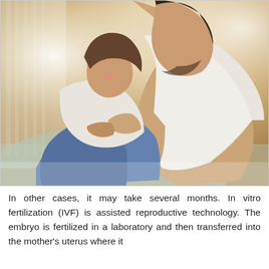[Figure (photo): A couple sitting close together in an intimate, romantic pose. A man leans over a woman who is smiling and looking up at him. They appear to be seated on or near a bed. The image has warm, soft lighting with a bright background.]
In other cases, it may take several months. In vitro fertilization (IVF) is assisted reproductive technology. The embryo is fertilized in a laboratory and then transferred into the mother's uterus where it